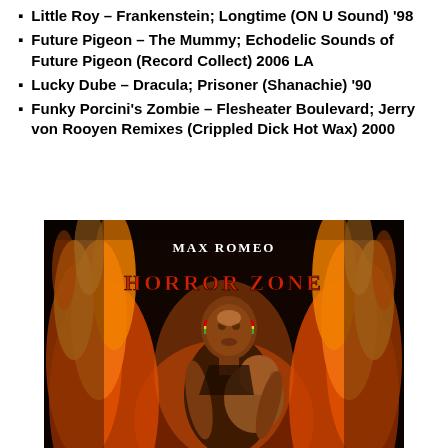Little Roy – Frankenstein; Longtime (ON U Sound) '98
Future Pigeon – The Mummy; Echodelic Sounds of Future Pigeon (Record Collect) 2006 LA
Lucky Dube – Dracula; Prisoner (Shanachie) '90
Funky Porcini's Zombie – Flesheater Boulevard; Jerry von Rooyen Remixes (Crippled Dick Hot Wax) 2000
[Figure (photo): Album cover for Max Romeo 'Horror Zone' — a person holding a child surrounded by flames on a dark background, with 'MAX ROMEO' and 'HORROR ZONE' text]